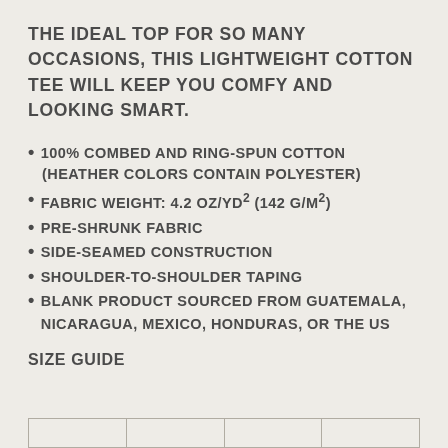The ideal top for so many occasions, this lightweight cotton tee will keep you comfy and looking smart.
100% combed and ring-spun cotton (Heather colors contain polyester)
Fabric weight: 4.2 oz/yd² (142 g/m²)
Pre-shrunk fabric
Side-seamed construction
Shoulder-to-shoulder taping
Blank product sourced from Guatemala, Nicaragua, Mexico, Honduras, or the US
Size guide
|  |  |  |  |